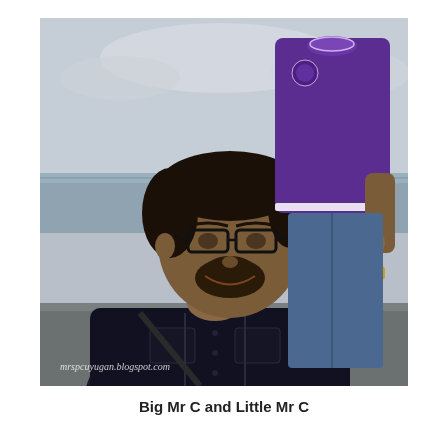[Figure (photo): A man wearing black glasses and a black shirt sits near the waterfront/seaside, smiling. A child in a purple polo shirt and jeans stands behind him with hand held by the man. Watermark text 'mrspcuyugan.blogspot.com' appears in the lower left of the photo.]
Big Mr C and Little Mr C